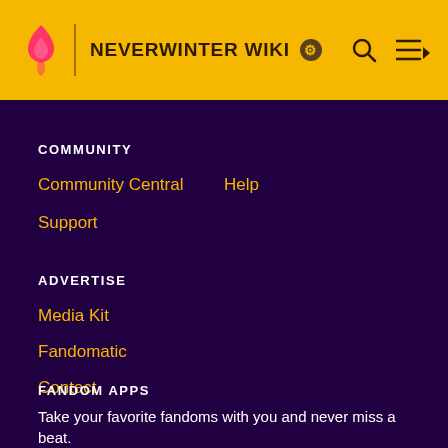NEVERWINTER WIKI
COMMUNITY
Community Central
Help
Support
ADVERTISE
Media Kit
Fandomatic
Contact
FANDOM APPS
Take your favorite fandoms with you and never miss a beat.